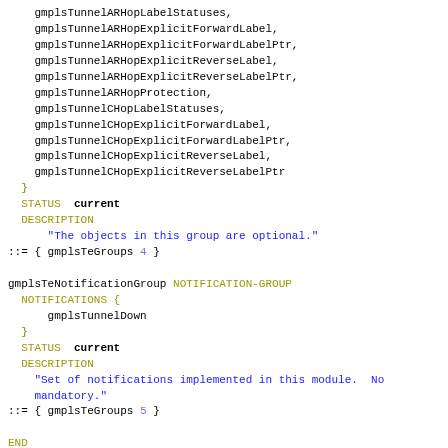gmplsTunnelARHopLabelStatuses, gmplsTunnelARHopExplicitForwardLabel, gmplsTunnelARHopExplicitForwardLabelPtr, gmplsTunnelARHopExplicitReverseLabel, gmplsTunnelARHopExplicitReverseLabelPtr, gmplsTunnelARHopProtection, gmplsTunnelCHopLabelStatuses, gmplsTunnelCHopExplicitForwardLabel, gmplsTunnelCHopExplicitForwardLabelPtr, gmplsTunnelCHopExplicitReverseLabel, gmplsTunnelCHopExplicitReverseLabelPtr } STATUS current DESCRIPTION "The objects in this group are optional." ::= { gmplsTeGroups 4 } gmplsTeNotificationGroup NOTIFICATION-GROUP NOTIFICATIONS { gmplsTunnelDown } STATUS current DESCRIPTION "Set of notifications implemented in this module. Not mandatory." ::= { gmplsTeGroups 5 } END